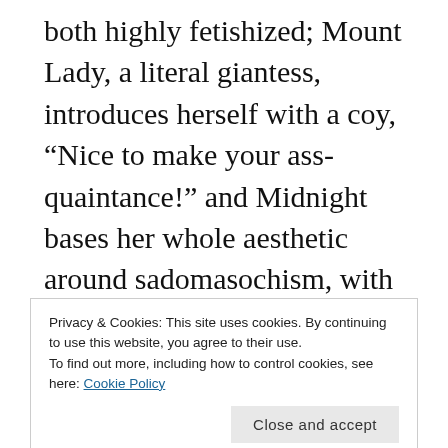both highly fetishized; Mount Lady, a literal giantess, introduces herself with a coy, “Nice to make your ass-quaintance!” and Midnight bases her whole aesthetic around sadomasochism, with the epithet “The R-Rated Hero” and a flog whip as a weapon. Uwabami makes her much of her living as a TV celebrity and hires her female interns on the basis of their looks. While the students of Hero Academy are quite realistically proportioned,
Privacy & Cookies: This site uses cookies. By continuing to use this website, you agree to their use.
To find out more, including how to control cookies, see here: Cookie Policy
routinely attempts touch or peep on his